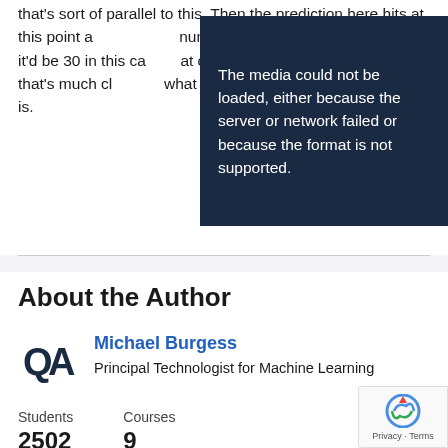that's sort of parallel to this. Then the prediction here hits at this point a number here. Which w but it'd be 30 in this ca at one. So this is actua number that's much cl what the role of the parameters there is.
[Figure (screenshot): Video overlay with dark navy background showing error message: 'The media could not be loaded, either because the server or network failed or because the format is not supported.']
About the Author
[Figure (logo): QA logo in dark navy blue]
Michael Burgess
Principal Technologist for Machine Learning
Students
2502
Courses
9